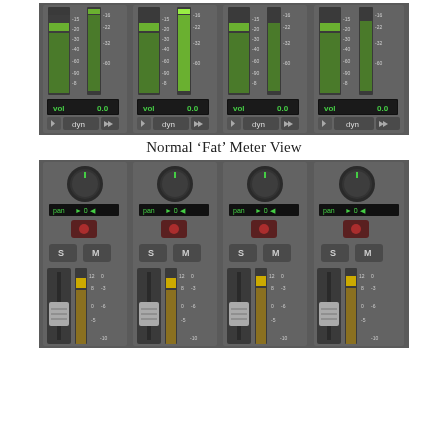[Figure (screenshot): Four audio mixer channel strips showing VU meters in 'Normal Fat Meter View' - top half showing level meters with vol displays showing 0.0 and dyn buttons]
Normal ‘Fat’ Meter View
[Figure (screenshot): Four audio mixer channel strips showing pan knobs, pan controls set to 0, record arm buttons, S and M buttons, and fader strips with level meters]